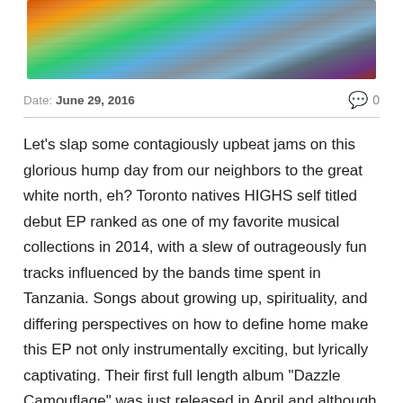[Figure (photo): Photo of a group of people (band members) standing together outdoors with colorful clothing and a blurred natural background.]
Date: June 29, 2016   💬 0
Let's slap some contagiously upbeat jams on this glorious hump day from our neighbors to the great white north, eh? Toronto natives HIGHS self titled debut EP ranked as one of my favorite musical collections in 2014, with a slew of outrageously fun tracks influenced by the bands time spent in Tanzania. Songs about growing up, spirituality, and differing perspectives on how to define home make this EP not only instrumentally exciting, but lyrically captivating. Their first full length album "Dazzle Camouflage" was just released in April and although